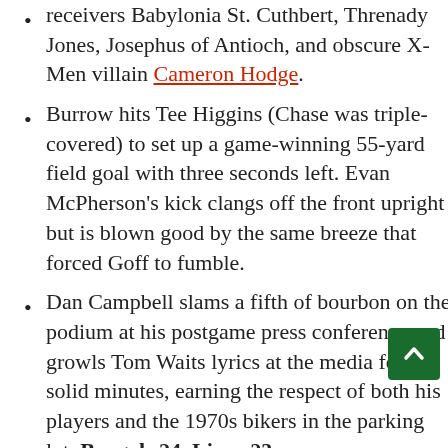receivers Babylonia St. Cuthbert, Threnady Jones, Josephus of Antioch, and obscure X-Men villain Cameron Hodge.
Burrow hits Tee Higgins (Chase was triple-covered) to set up a game-winning 55-yard field goal with three seconds left. Evan McPherson's kick clangs off the front upright but is blown good by the same breeze that forced Goff to fumble.
Dan Campbell slams a fifth of bourbon on the podium at his postgame press conference and growls Tom Waits lyrics at the media for 20 solid minutes, earning the respect of both his players and the 1970s bikers in the parking lot. Bengals 24, Lions 23.
Houston Texans at Indianapolis Colts, Sunday, 1